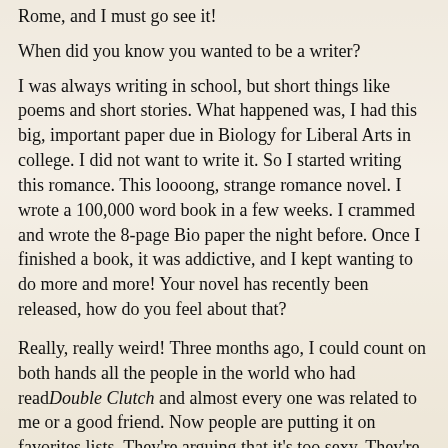Rome, and I must go see it!
When did you know you wanted to be a writer?
I was always writing in school, but short things like poems and short stories. What happened was, I had this big, important paper due in Biology for Liberal Arts in college. I did not want to write it. So I started writing this romance. This loooong, strange romance novel. I wrote a 100,000 word book in a few weeks. I crammed and wrote the 8-page Bio paper the night before. Once I finished a book, it was addictive, and I kept wanting to do more and more! Your novel has recently been released, how do you feel about that?
Really, really weird! Three months ago, I could count on both hands all the people in the world who had readDouble Clutch and almost every one was related to me or a good friend. Now people are putting it on favorites lists. They're arguing that it's too sexy. They're picking teams! One woman sent me a list of songs that made her think of the characters! A playlist!! It's amazing. It's really strange and amazing.